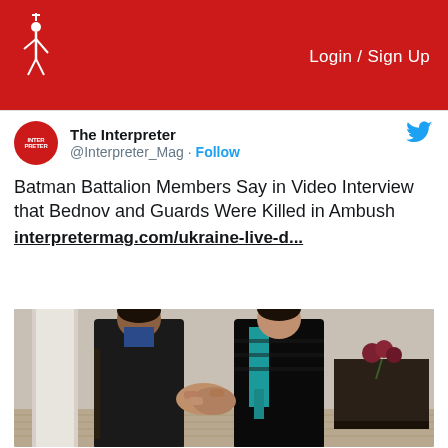Login / Sign Up
The Interpreter
@Interpreter_Mag · Follow
Batman Battalion Members Say in Video Interview that Bednov and Guards Were Killed in Ambush interpretermag.com/ukraine-live-d...
[Figure (photo): Two people shaking hands indoors; one wearing a black leather jacket and the other wearing a black fur coat with a teal/turquoise scarf. Background shows a white column and a dark wooden sideboard with flowers.]